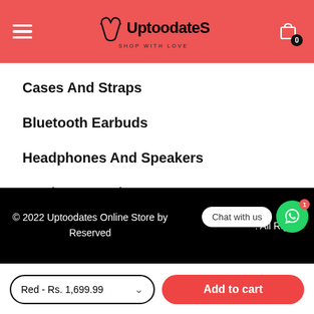UptoodateS – SHOP WITH LOVE (header with hamburger menu and cart)
Cases And Straps
Bluetooth Earbuds
Headphones And Speakers
Track Your Orders
© 2022 Uptoodates Online Store by . All Rights Reserved
Chat with us
Red - Rs. 1,699.99
Add to cart